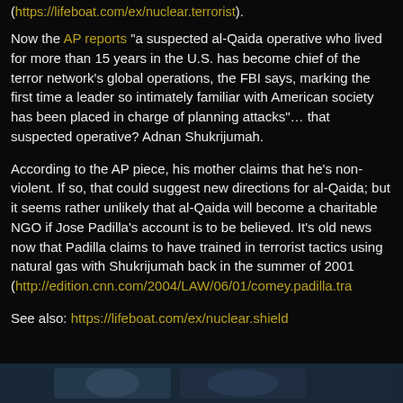(https://lifeboat.com/ex/nuclear.terrorist).
Now the AP reports "a suspected al-Qaida operative who lived for more than 15 years in the U.S. has become chief of the terror network’s global operations, the FBI says, marking the first time a leader so intimately familiar with American society has been placed in charge of planning attacks"… that suspected operative? Adnan Shukrijumah.
According to the AP piece, his mother claims that he’s non-violent. If so, that could suggest new directions for al-Qaida; but it seems rather unlikely that al-Qaida will become a charitable NGO if Jose Padilla’s account is to be believed. It’s old news now that Padilla claims to have trained in terrorist tactics using natural gas with Shukrijumah back in the summer of 2001 (http://edition.cnn.com/2004/LAW/06/01/comey.padilla.tra
See also: https://lifeboat.com/ex/nuclear.shield
[Figure (photo): Partial bottom image strip, appears to be a photo of people, partially visible at the bottom of the page]